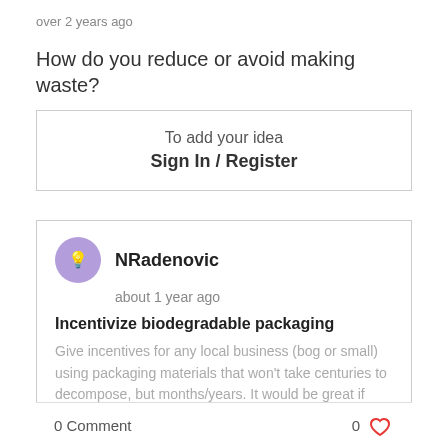over 2 years ago
How do you reduce or avoid making waste?
To add your idea
Sign In / Register
NRadenovic
about 1 year ago
Incentivize biodegradable packaging
Give incentives for any local business (bog or small) using packaging materials that won't take centuries to decompose, but months/years. It would be great if corporations were responsible for **properly** recycling
0 Comment
0